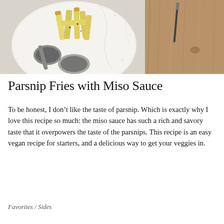[Figure (photo): Overhead photo of parsnip fries on a white plate with a spoon, placed on a stone/marble surface next to a wooden cutting board and a knife]
Parsnip Fries with Miso Sauce
To be honest, I don't like the taste of parsnip. Which is exactly why I love this recipe so much: the miso sauce has such a rich and savory taste that it overpowers the taste of the parsnips. This recipe is an easy vegan recipe for starters, and a delicious way to get your veggies in.
Favorites / Sides